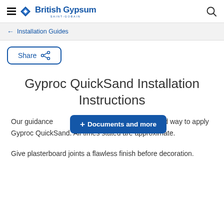British Gypsum SAINT-GOBAIN
← Installation Guides
Share
Gyproc QuickSand Installation Instructions
Our guidance [+ Documents and more] nded way to apply Gyproc QuickSand. All times stated are approximate.
Give plasterboard joints a flawless finish before decoration.